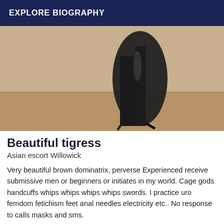EXPLORE BIOGRAPHY
[Figure (photo): Photo showing black high-heeled boots/shoes against a wooden floor background]
Beautiful tigress
Asian escort Willowick
Very beautiful brown dominatrix, perverse Experienced receive submissive men or beginners or initiates in my world. Cage gods handcuffs whips whips whips whips swords. I practice uro femdom fetichism feet anal needles electricity etc.. No response to calls masks and sms.